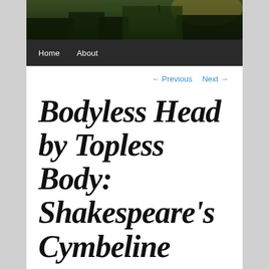[Figure (photo): Dark landscape/nature photo showing a path through dense vegetation with silhouetted figure in distance and bright sky]
Home    About
← Previous    Next →
Bodyless Head by Topless Body: Shakespeare's Cymbeline